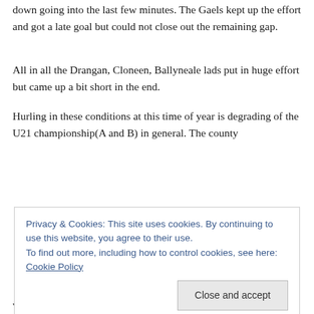down going into the last few minutes. The Gaels kept up the effort and got a late goal but could not close out the remaining gap.
All in all the Drangan, Cloneen, Ballyneale lads put in huge effort but came up a bit short in the end.
Hurling in these conditions at this time of year is degrading of the U21 championship(A and B) in general. The county
Privacy & Cookies: This site uses cookies. By continuing to use this website, you agree to their use. To find out more, including how to control cookies, see here: Cookie Policy
with one walkover. Really impressive planning/scheduling